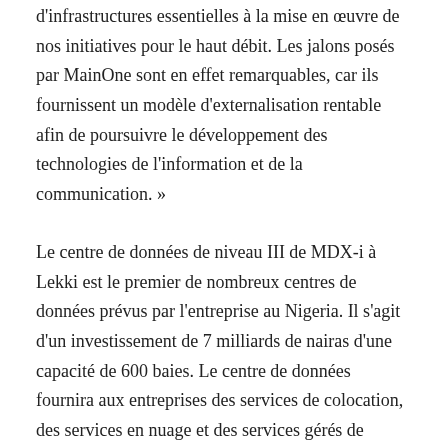d'infrastructures essentielles à la mise en œuvre de nos initiatives pour le haut débit. Les jalons posés par MainOne sont en effet remarquables, car ils fournissent un modèle d'externalisation rentable afin de poursuivre le développement des technologies de l'information et de la communication. »
Le centre de données de niveau III de MDX-i à Lekki est le premier de nombreux centres de données prévus par l'entreprise au Nigeria. Il s'agit d'un investissement de 7 milliards de nairas d'une capacité de 600 baies. Le centre de données fournira aux entreprises des services de colocation, des services en nuage et des services gérés de premier ordre. Les premiers clients pourront profiter de ces services à partir de la semaine prochaine.